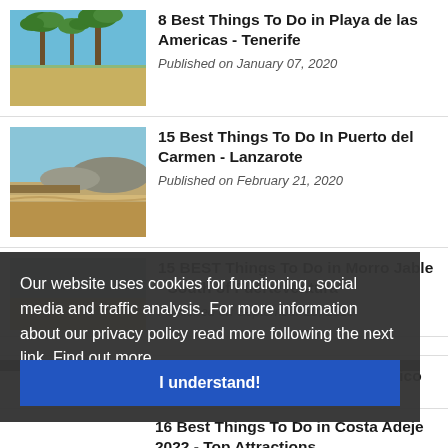[Figure (photo): Thumbnail photo of palm trees and beach at Playa de las Americas, Tenerife]
8 Best Things To Do in Playa de las Americas - Tenerife
Published on January 07, 2020
[Figure (photo): Thumbnail photo of sandy beach and coastline at Puerto del Carmen, Lanzarote]
15 Best Things To Do In Puerto del Carmen - Lanzarote
Published on February 21, 2020
15 BEST Things To Do in Morro Jable - South of Fuerteventura
Published on September 20, 2019
10 Best Things To Do in Puerto Rico de
Published on November 11, 2019
Our website uses cookies for functioning, social media and traffic analysis. For more information about our privacy policy read more following the next link. Find out more
I understand!
16 Best Things To Do in Costa Adeje 2022 - Top Attractions